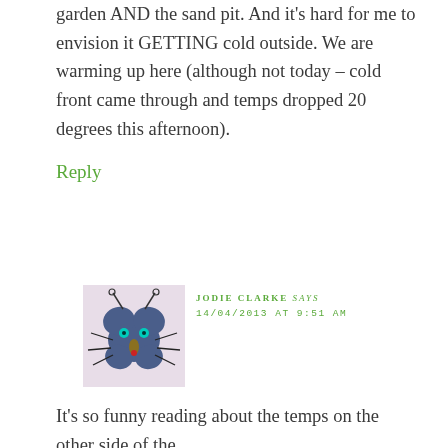garden AND the sand pit. And it's hard for me to envision it GETTING cold outside. We are warming up here (although not today – cold front came through and temps dropped 20 degrees this afternoon).
Reply
[Figure (illustration): Avatar illustration of a stylized blue bug/butterfly creature with antennae, cyan eyes, and spindly legs on a light pink/lavender background]
JODIE CLARKE says
14/04/2013 AT 9:51 AM
It's so funny reading about the temps on the other side of the